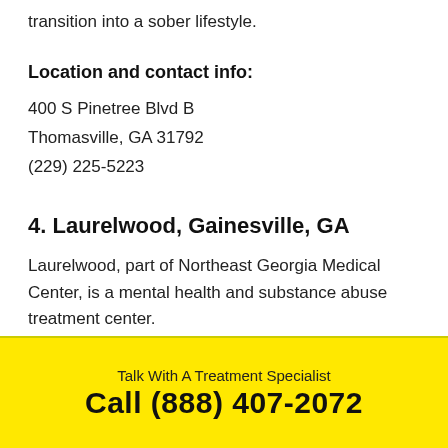transition into a sober lifestyle.
Location and contact info:
400 S Pinetree Blvd B
Thomasville, GA 31792
(229) 225-5223
4. Laurelwood, Gainesville, GA
Laurelwood, part of Northeast Georgia Medical Center, is a mental health and substance abuse treatment center.
Talk With A Treatment Specialist
Call (888) 407-2072